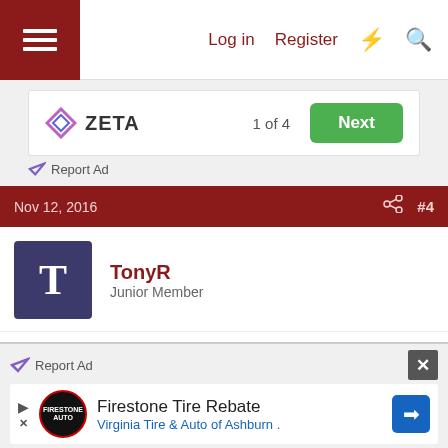Log in  Register
[Figure (screenshot): Zeta ad banner showing '1 of 4' with Next button]
Report Ad
Nov 12, 2016  #4
TonyR
Junior Member
I picked up a few of the copper colored frying pans to replace some older teflon pans that were scratched really bad. They were inexpensive and feel cheap, nothing like my all clad but hell they were $20.00. Good for making omelets And nothing seems to stick
Report Ad
[Figure (screenshot): Firestone Tire Rebate ad - Virginia Tire & Auto of Ashburn]